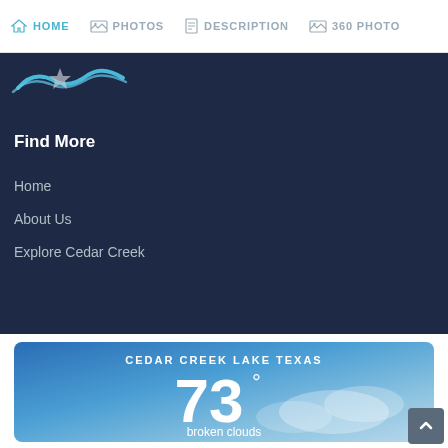HOME | PHOTOS | DESCRIPTION | 360 PHOTO
[Figure (logo): Website logo with blue wave/swoosh graphic]
Find More
Home
About Us
Explore Cedar Creek
[Figure (infographic): Weather widget showing CEDAR CREEK LAKE TEXAS, 73 degrees, broken clouds, 92% humidity with sky background]